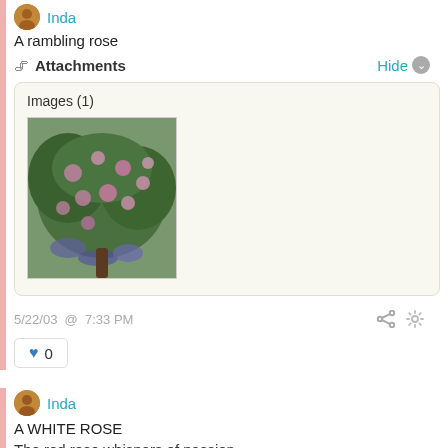A rambling rose
📎 Attachments   Hide ⌄
[Figure (screenshot): Images (1) panel showing a thumbnail photo of a pink rose bush/rambling rose plant]
5/22/03  @  7:33 PM
♥ 0
Inda
A WHITE ROSE
The red rose whispers of passion,